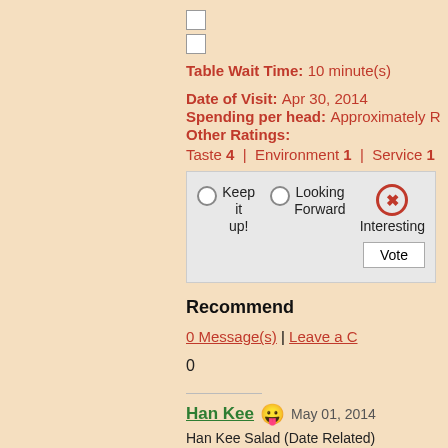Table Wait Time: 10 minute(s)
Date of Visit: Apr 30, 2014
Spending per head: Approximately R
Other Ratings: Taste 4 | Environment 1 | Service 1
[Figure (other): Vote widget with radio buttons: Keep it up!, Looking Forward, Interesting. Vote button.]
Recommend
0 Message(s) | Leave a C
0
Han Kee  May 01, 2014
Han Kee Salad (Date Related)